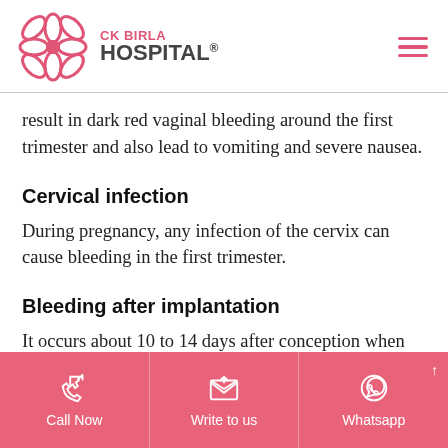CK BIRLA HOSPITAL®
result in dark red vaginal bleeding around the first trimester and also lead to vomiting and severe nausea.
Cervical infection
During pregnancy, any infection of the cervix can cause bleeding in the first trimester.
Bleeding after implantation
It occurs about 10 to 14 days after conception when the fertilised egg implants in the lining of the uterus. Implantation bleeding is very light spotting that is
Call Now | Write to us | Whatsapp